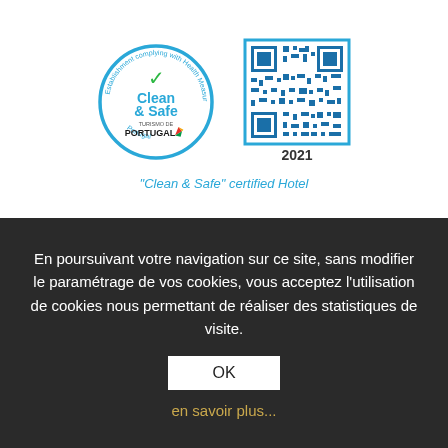[Figure (logo): Clean & Safe certified badge — circular blue border with 'Establishment complying with Health Measures Portugal' arc text, green checkmark, blue 'Clean & Safe' text, Turismo de Portugal logo with colorful bird icon]
[Figure (other): QR code image with blue border, labeled '2021' below]
"Clean & Safe" certified Hotel
En poursuivant votre navigation sur ce site, sans modifier le paramétrage de vos cookies, vous acceptez l'utilisation de cookies nous permettant de réaliser des statistiques de visite.
OK
en savoir plus...